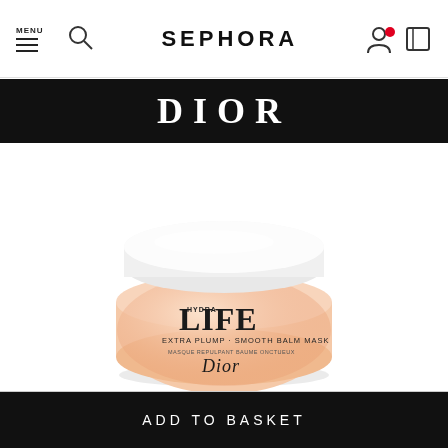SEPHORA
DIOR
[Figure (photo): Dior Hydra Life Extra Plump Smooth Balm Mask product jar with white lid and peach/rose-gold body with label reading HYDRA LIFE EXTRA PLUMP · SMOOTH BALM MASK MASQUE REPULPANT BAUME ONCTUEUX Dior]
ADD TO BASKET